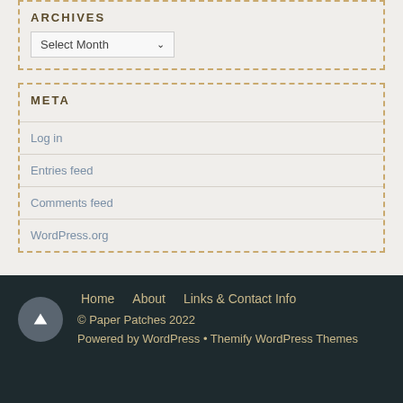ARCHIVES
Select Month
META
Log in
Entries feed
Comments feed
WordPress.org
Home   About   Links & Contact Info
© Paper Patches 2022
Powered by WordPress • Themify WordPress Themes